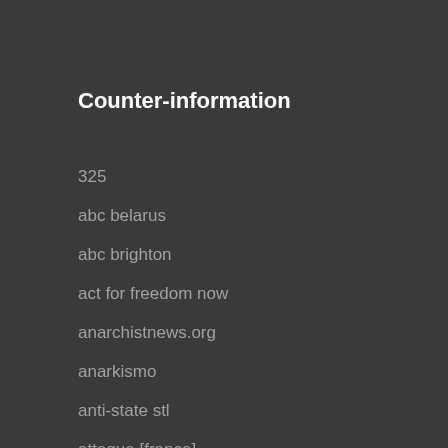Counter-information
325
abc belarus
abc brighton
act for freedom now
anarchistnews.org
anarkismo
anti-state stl
attaque [france]
avtonom.org
bite back
blackdiamondprisonersupport
chronik [germany]
conflict mn